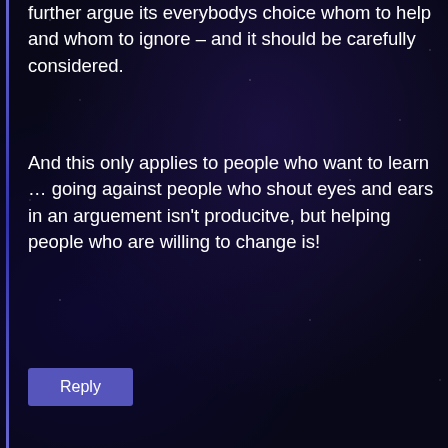further argue its everybodys choice whom to help and whom to ignore – and it should be carefully considered.
And this only applies to people who want to learn … going against people who shout eyes and ears in an arguement isn't producitve, but helping people who are willing to change is!
Reply
IN REPLY TO LIZARD WITH HAT
Dave L
August 25, 2018 at 5:02 am